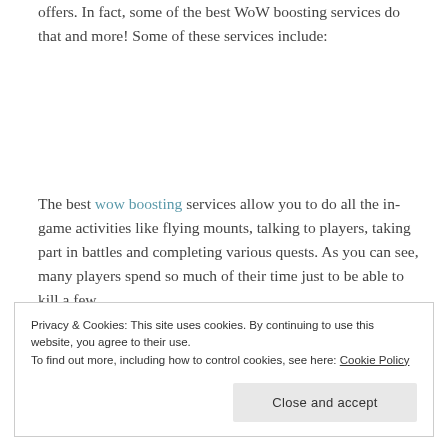offers. In fact, some of the best WoW boosting services do that and more! Some of these services include:
The best wow boosting services allow you to do all the in-game activities like flying mounts, talking to players, taking part in battles and completing various quests. As you can see, many players spend so much of their time just to be able to kill a few
Privacy & Cookies: This site uses cookies. By continuing to use this website, you agree to their use.
To find out more, including how to control cookies, see here: Cookie Policy
finish more quests or other activities, thus allowing